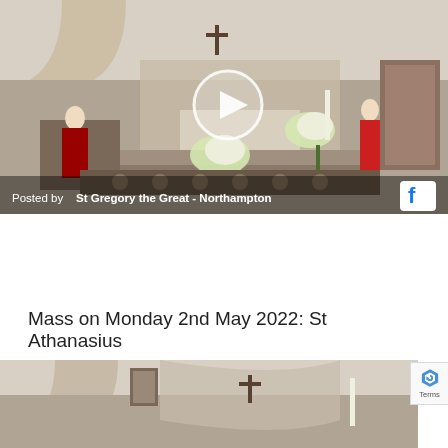[Figure (screenshot): Facebook video thumbnail showing interior of a Catholic church during Mass. A priest in red vestments stands at a pulpit on the left. The altar area is decorated with white flower arrangements. A crucifix hangs on the wall above the altar. A white circle play button is overlaid in the center. At the bottom an overlay bar reads 'Posted by St Gregory the Great - Northampton' with a Facebook icon on the right.]
Posted by St Gregory the Great - Northampton
Mass on Monday 2nd May 2022: St Athanasius
[Figure (screenshot): Partial Facebook video thumbnail showing the interior of a Catholic church, similar to the image above. Visible are a stone archway on the left, a religious painting on the wall, and a crucifix hanging above the altar area. The image is cropped at the bottom of the page.]